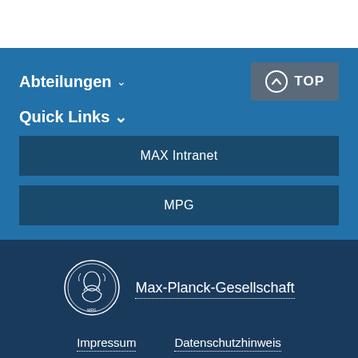Abteilungen
Quick Links
MAX Intranet
MPG
[Figure (logo): Max-Planck-Gesellschaft circular medallion logo with profile portrait]
Max-Planck-Gesellschaft
Impressum
Datenschutzhinweis
© 2022, Max-Planck-Gesellschaft